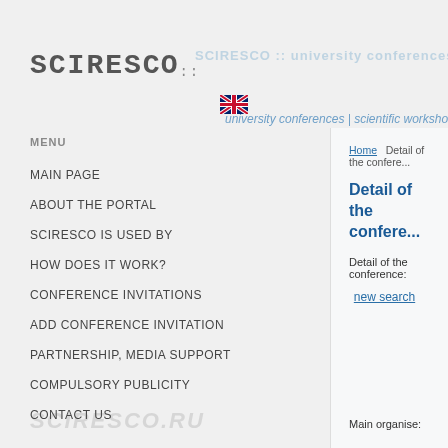SCIRESCO :: university conferences | scientific workshops
[Figure (logo): SCIRESCO logo in monospace font with dots]
university conferences | scientific workshops
[Figure (illustration): UK flag icon]
MENU
MAIN PAGE
ABOUT THE PORTAL
SCIRESCO IS USED BY
HOW DOES IT WORK?
CONFERENCE INVITATIONS
ADD CONFERENCE INVITATION
PARTNERSHIP, MEDIA SUPPORT
COMPULSORY PUBLICITY
CONTACT US
Home   Detail of the confere...
Detail of the confere...
Detail of the conference:
new search
Main organise: